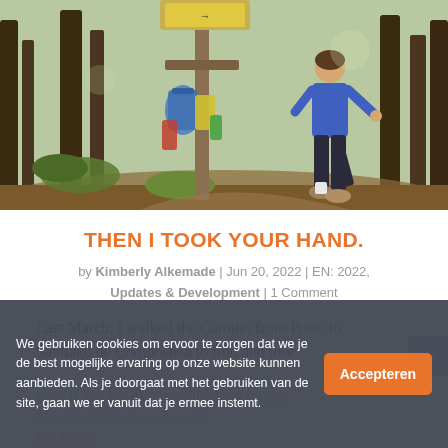[Figure (photo): Person in blue jacket standing at a Camino de Santiago waymarker/cross in a mossy forest, with backpacks hanging on the wooden cross structure. Forest with bare trees in background.]
THEN I TOOK YOUR HAND.
by Kimberly Alkemade | Jun 20, 2022 | EN: 2022, Updates & Development | 1 Comment
Last March, I walked the Camino from Porto to Santiago de Compostela to find and lose myself and [re-discover] the love for my sport.
We gebruiken cookies om ervoor te zorgen dat we je de best mogelijke ervaring op onze website kunnen aanbieden. Als je doorgaat met het gebruiken van de site, gaan we er vanuit dat je ermee instemt.